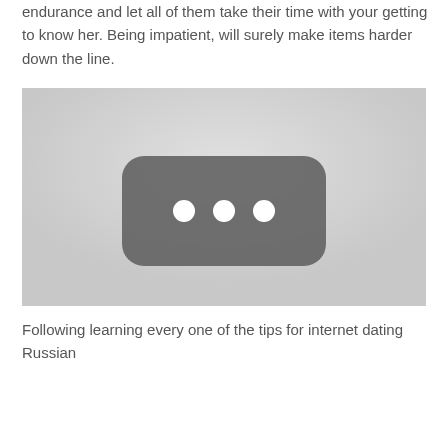endurance and let all of them take their time with your getting to know her. Being impatient, will surely make items harder down the line.
[Figure (other): A grayscale image showing a dark rounded rectangle with three white dots in the center, resembling a loading or media placeholder icon, on a light gray background.]
Following learning every one of the tips for internet dating Russian